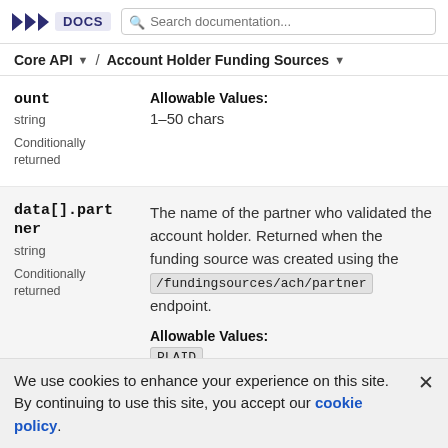>>> DOCS | Search documentation...
Core API ▾ / Account Holder Funding Sources ▾
ount
string
Conditionally returned
Allowable Values:
1–50 chars
data[].partner
string
Conditionally returned
The name of the partner who validated the account holder. Returned when the funding source was created using the /fundingsources/ach/partner endpoint.
Allowable Values:
PLAID
We use cookies to enhance your experience on this site. By continuing to use this site, you accept our cookie policy.